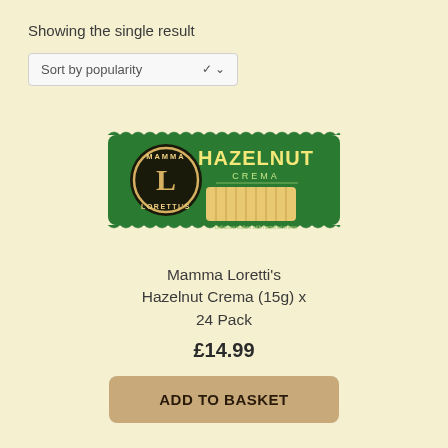Showing the single result
Sort by popularity
[Figure (photo): Mamma Loretti's Hazelnut Crema wafer bar product package — green packaging with gold logo and wafer rolls shown]
Mamma Loretti's Hazelnut Crema (15g) x 24 Pack
£14.99
ADD TO BASKET